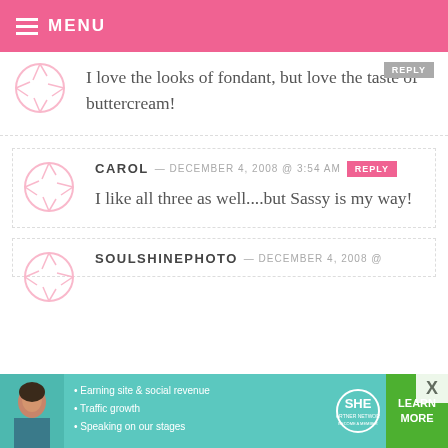MENU
I love the looks of fondant, but love the taste of buttercream!
CAROL — DECEMBER 4, 2008 @ 3:54 AM  REPLY
I like all three as well....but Sassy is my way!
SOULSHINEPHOTO — DECEMBER 4, 2008 @
[Figure (infographic): SHE Partner Network advertisement banner with woman photo, bullet points about earning site & social revenue, traffic growth, speaking on stages, SHE logo, and Learn More button]